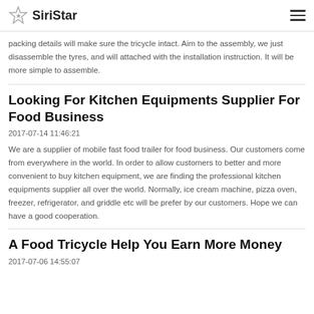SiriStar
packing details will make sure the tricycle intact. Aim to the assembly, we just disassemble the tyres, and will attached with the installation instruction. It will be more simple to assemble.
Looking For Kitchen Equipments Supplier For Food Business
2017-07-14 11:46:21
We are a supplier of mobile fast food trailer for food business. Our customers come from everywhere in the world. In order to allow customers to better and more convenient to buy kitchen equipment, we are finding the professional kitchen equipments supplier all over the world. Normally, ice cream machine, pizza oven, freezer, refrigerator, and griddle etc will be prefer by our customers. Hope we can have a good cooperation.
A Food Tricycle Help You Earn More Money
2017-07-06 14:55:07